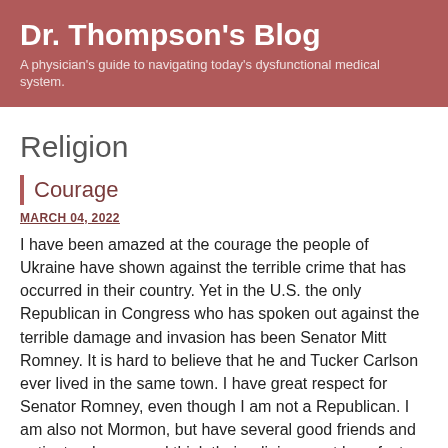Dr. Thompson's Blog
A physician's guide to navigating today's dysfunctional medical system.
Religion
Courage
MARCH 04, 2022
I have been amazed at the courage the people of Ukraine have shown against the terrible crime that has occurred in their country. Yet in the U.S. the only Republican in Congress who has spoken out against the terrible damage and invasion has been Senator Mitt Romney. It is hard to believe that he and Tucker Carlson ever lived in the same town. I have great respect for Senator Romney, even though I am not a Republican. I am also not Mormon, but have several good friends and patients who are and think their religion must be a factor in teaching them what is right and what they will and will not tolerate. I wish there was a way for all parents to teach their children courage and good morals. To me that is...